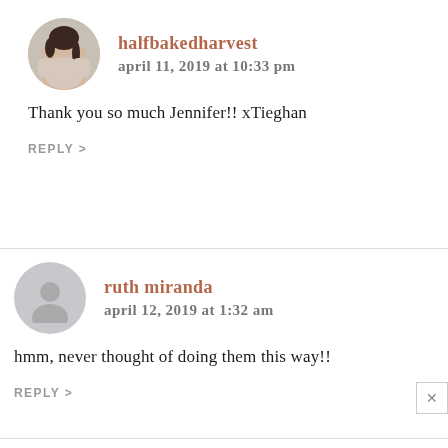halfbakedharvest
april 11, 2019 at 10:33 pm
Thank you so much Jennifer!! xTieghan
REPLY >
ruth miranda
april 12, 2019 at 1:32 am
hmm, never thought of doing them this way!!
REPLY >